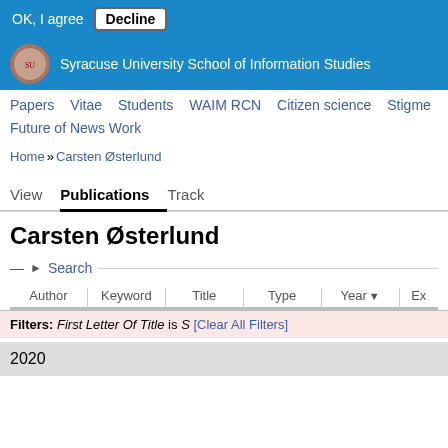OK, I agree | Decline
Syracuse University School of Information Studies
Papers | Vitae | Students | WAIM RCN | Citizen science | Stigme...
Future of News Work
Home » Carsten Østerlund
View | Publications | Track
Carsten Østerlund
— ▶ Search —
Author | Keyword | Title | Type | Year▼ | Ex
Filters: First Letter Of Title is S [Clear All Filters]
2020